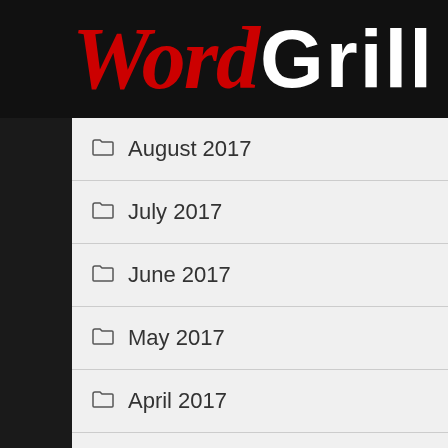[Figure (logo): WordGrill logo with 'Word' in red italic serif and 'GRILL' in white bold sans-serif on black background]
August 2017
July 2017
June 2017
May 2017
April 2017
March 2017
February 2017
January 2017
December 2016